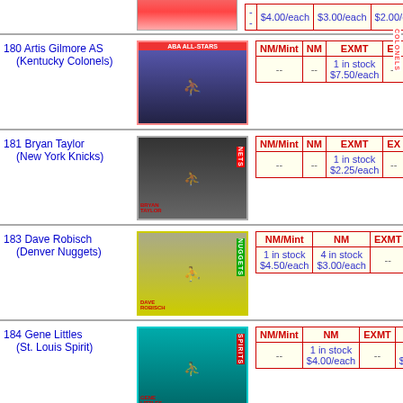| NM/Mint | NM | EXMT | EX |
| --- | --- | --- | --- |
| -- | $4.00/each | $3.00/each | $2.00/each |
[Figure (photo): Basketball card #180 Artis Gilmore AS, Kentucky Colonels, ABA All-Stars]
180 Artis Gilmore AS (Kentucky Colonels)
| NM/Mint | NM | EXMT | EX |
| --- | --- | --- | --- |
| -- | -- | 1 in stock $7.50/each | -- |
[Figure (photo): Basketball card #181 Bryan Taylor, New York Knicks, Nets]
181 Bryan Taylor (New York Knicks)
| NM/Mint | NM | EXMT | EX |
| --- | --- | --- | --- |
| -- | -- | 1 in stock $2.25/each | -- |
[Figure (photo): Basketball card #183 Dave Robisch, Denver Nuggets]
183 Dave Robisch (Denver Nuggets)
| NM/Mint | NM | EXMT | EX |
| --- | --- | --- | --- |
| 1 in stock $4.50/each | 4 in stock $3.00/each | -- | 1 in stock $1.50/each |
[Figure (photo): Basketball card #184 Gene Littles, St. Louis Spirit, Spirits]
184 Gene Littles (St. Louis Spirit)
| NM/Mint | NM | EXMT | EX |
| --- | --- | --- | --- |
| -- | 1 in stock $4.00/each | -- | 3 in stock $2.00/each |